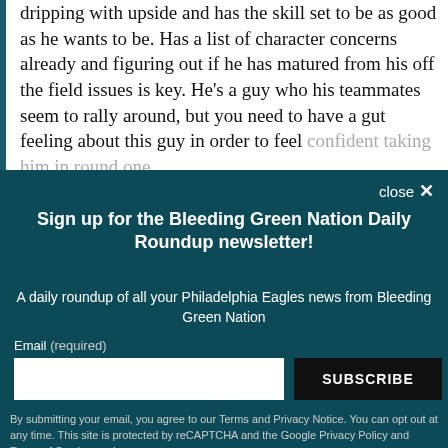dripping with upside and has the skill set to be as good as he wants to be. Has a list of character concerns already and figuring out if he has matured from his off the field issues is key. He's a guy who his teammates seem to rally around, but you need to have a gut feeling about this guy in order to feel confident taking him in round one.
Sign up for the Bleeding Green Nation Daily Roundup newsletter!
A daily roundup of all your Philadelphia Eagles news from Bleeding Green Nation
Email (required)
SUBSCRIBE
By submitting your email, you agree to our Terms and Privacy Notice. You can opt out at any time. This site is protected by reCAPTCHA and the Google Privacy Policy and Terms of Service apply.